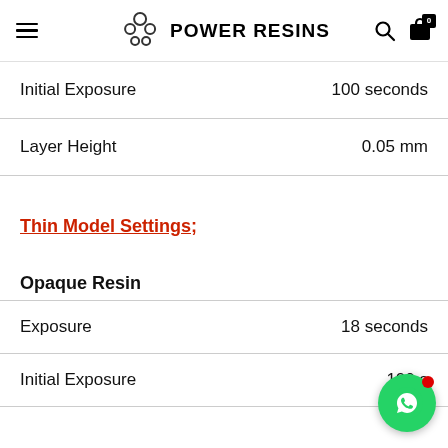POWER RESINS
| Property | Value |
| --- | --- |
| Initial Exposure | 100 seconds |
| Layer Height | 0.05 mm |
Thin Model Settings;
Opaque Resin
| Property | Value |
| --- | --- |
| Exposure | 18 seconds |
| Initial Exposure | 100 s... |